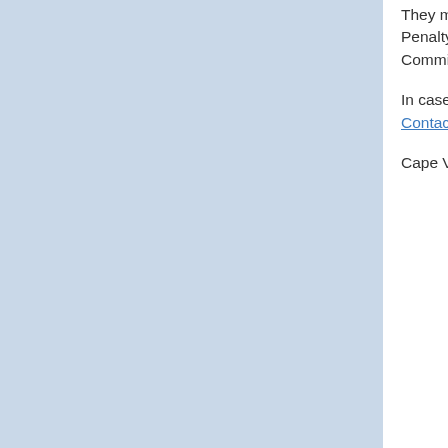They may also file complaints according to the EU guidelines (on Human Rights Defenders, Death Penalty and Torture) to Embassies of EU Member States and the Delegations of the European Commission.
In cases of human rights violations by multinational corporations, they may also invoke the National Contact Point in an OECD member state.
Cape Verde has not yet joined the International Criminal Court.